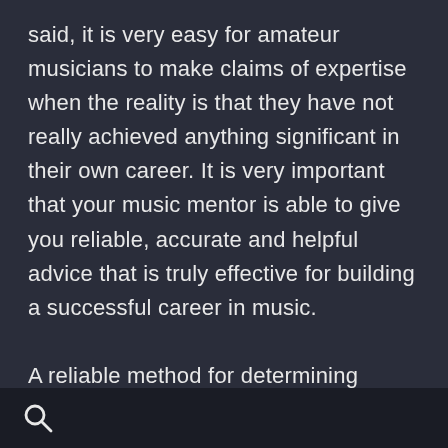said, it is very easy for amateur musicians to make claims of expertise when the reality is that they have not really achieved anything significant in their own career. It is very important that your music mentor is able to give you reliable, accurate and helpful advice that is truly effective for building a successful career in music.

A reliable method for determining whether or not a mentor can really help you in your music career is to observe the success of the
[search icon]